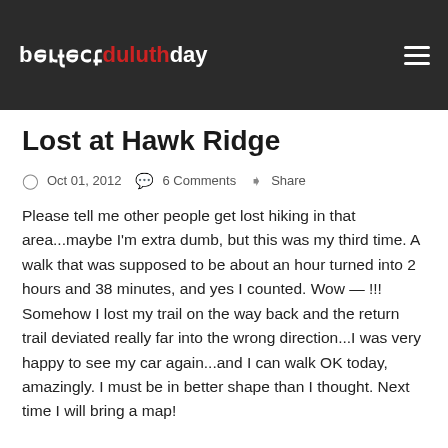perfect duluthday
Lost at Hawk Ridge
Oct 01, 2012   6 Comments   Share
Please tell me other people get lost hiking in that area...maybe I'm extra dumb, but this was my third time. A walk that was supposed to be about an hour turned into 2 hours and 38 minutes, and yes I counted. Wow — !!! Somehow I lost my trail on the way back and the return trail deviated really far into the wrong direction...I was very happy to see my car again...and I can walk OK today, amazingly. I must be in better shape than I thought. Next time I will bring a map!